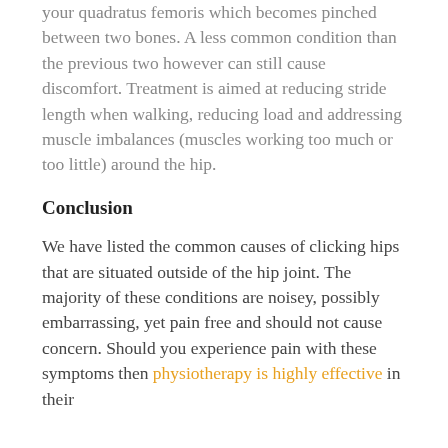your quadratus femoris which becomes pinched between two bones. A less common condition than the previous two however can still cause discomfort. Treatment is aimed at reducing stride length when walking, reducing load and addressing muscle imbalances (muscles working too much or too little) around the hip.
Conclusion
We have listed the common causes of clicking hips that are situated outside of the hip joint. The majority of these conditions are noisey, possibly embarrassing, yet pain free and should not cause concern. Should you experience pain with these symptoms then physiotherapy is highly effective in their